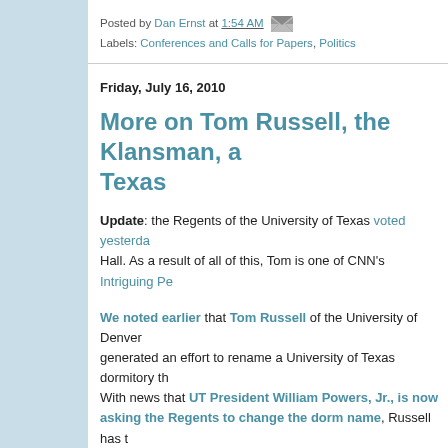Posted by Dan Ernst at 1:54 AM
Labels: Conferences and Calls for Papers, Politics
Friday, July 16, 2010
More on Tom Russell, the Klansman, and Texas
Update: the Regents of the University of Texas voted yesterday Hall. As a result of all of this, Tom is one of CNN's Intriguing Pe
We noted earlier that Tom Russell of the University of Denver generated an effort to rename a University of Texas dormitory th With news that UT President William Powers, Jr., is now asking the Regents to change the dorm name, Russell has t post today at Huffington Post:
In her diary in 1916, Virginia Woolf referred to legal histo as "something that matters to no one; & will never be use seen, or read."
Ten weeks ago, my 48-page legal history paper starte Texas-sized controversy about a University of Texas